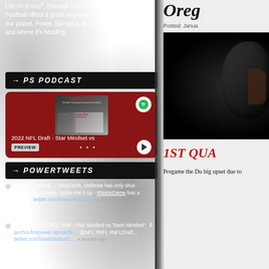Life => E=mc². Football => PS=st².
Football offers a great microcosm for the game of Life on our planet. Power Spread is all Football. Where it's been and where it's heading.
PS PODCAST
[Figure (screenshot): Spotify podcast player widget showing POWERSPREAD podcast episode '2022 NFL Draft - Star Mindset vs' with preview button and play controls on dark red background]
POWERTWEETS
Power + Spread … need both. Defense has only shot- Aggressive Variety - gotta mix it up - #NotreDame has a tough… twitter.com/i/web/status/1… 1 day ago
Listen to "2022 NFL Draft - Star Mindset vs Team Mindset". anchor.fm/power-spread/e… @NFL #NFL #NFLDraft… twitter.com/i/web/status/1… 4 months ago
Oreg
Posted: Janua
[Figure (photo): Dark photo of a football helmet on black background]
1ST QUA
Pregame the Du big upset due to